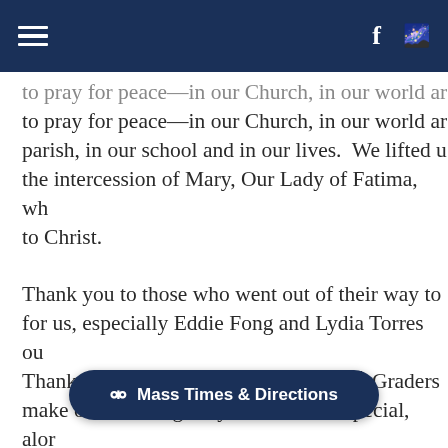Navigation bar with hamburger menu, Facebook icon, and share icon
to pray for peace—in our Church, in our world and parish, in our school and in our lives. We lifted up the intercession of Mary, Our Lady of Fatima, who leads us to Christ.
Thank you to those who went out of their way to help for us, especially Eddie Fong and Lydia Torres our... Thanks go to our Mrs. Ebert and her 8th Graders who make our Morning Prayer Service so special, along with homeschool families. Thanks to our choir, music, and environment created... warriors in 6 different languages. Thanks to the...
[Figure (other): Mass Times & Directions button overlay]